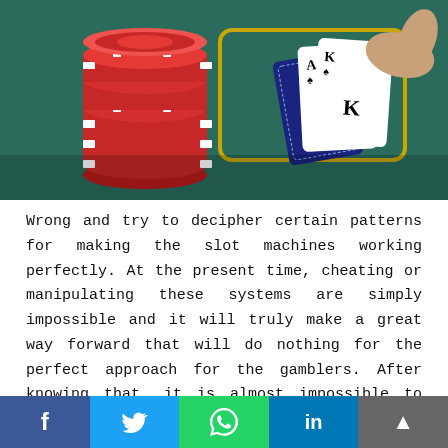[Figure (photo): Casino scene: stack of red poker chips on green felt table with a golden card holder outline, and a hand holding playing cards (Ace of spades and King visible)]
Wrong and try to decipher certain patterns for making the slot machines working perfectly. At the present time, cheating or manipulating these systems are simply impossible and it will truly make a great way forward that will do nothing for the perfect approach for the gamblers. After knowing that, it is almost impossible to crack the system and manipulating them is almost impossible.
Possibility of Offline Cheating
f  𝕏  WhatsApp icon  in  ▲